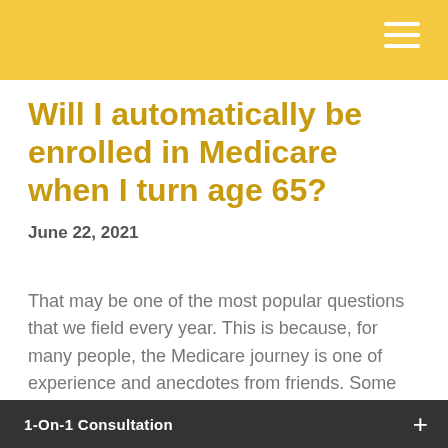Will I automatically be enrolled in Medicare when I turn age 65?
June 22, 2021
That may be one of the most popular questions that we field every year. This is because, for many people, the Medicare journey is one of experience and anecdotes from friends. Some people are
1-On-1 Consultation